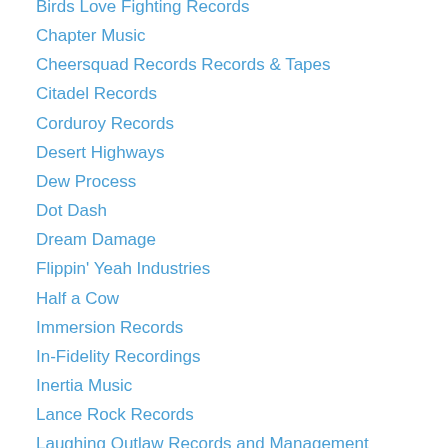Birds Love Fighting Records
Chapter Music
Cheersquad Records Records & Tapes
Citadel Records
Corduroy Records
Desert Highways
Dew Process
Dot Dash
Dream Damage
Flippin' Yeah Industries
Half a Cow
Immersion Records
In-Fidelity Recordings
Inertia Music
Lance Rock Records
Laughing Outlaw Records and Management
Liberation Music
Milk
Modular Recordings
Poison City